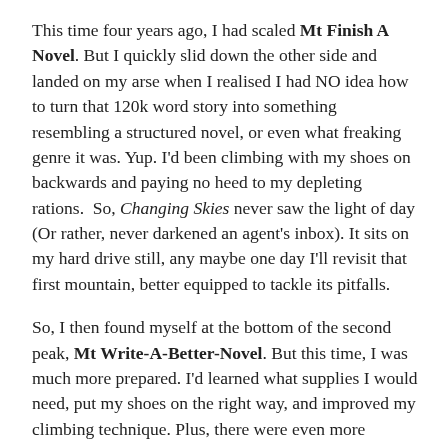This time four years ago, I had scaled Mt Finish A Novel. But I quickly slid down the other side and landed on my arse when I realised I had NO idea how to turn that 120k word story into something resembling a structured novel, or even what freaking genre it was. Yup. I'd been climbing with my shoes on backwards and paying no heed to my depleting rations. So, Changing Skies never saw the light of day (Or rather, never darkened an agent's inbox). It sits on my hard drive still, any maybe one day I'll revisit that first mountain, better equipped to tackle its pitfalls.
So, I then found myself at the bottom of the second peak, Mt Write-A-Better-Novel. But this time, I was much more prepared. I'd learned what supplies I would need, put my shoes on the right way, and improved my climbing technique. Plus, there were even more footsteps in the snow around me than before. After a couple of years of pushing ever onward, with the occasional fall (thank